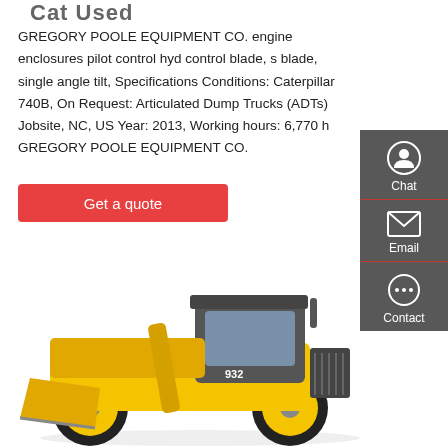Cat Used
GREGORY POOLE EQUIPMENT CO. engine enclosures pilot control hyd control blade, s blade, single angle tilt, Specifications Conditions: Caterpillar 740B, On Request: Articulated Dump Trucks (ADTs) Jobsite, NC, US Year: 2013, Working hours: 6,770 h GREGORY POOLE EQUIPMENT CO.
Get a quote
[Figure (illustration): Yellow and grey front loader / wheel loader machine (model 932) on white background]
Chat
Email
Contact